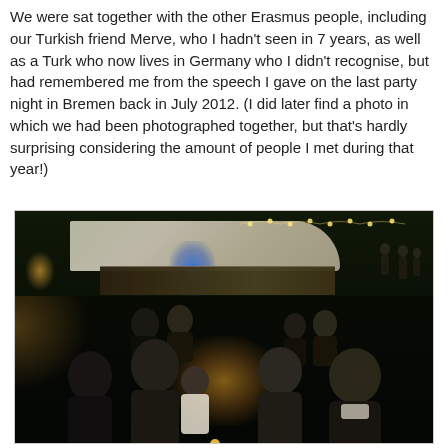We were sat together with the other Erasmus people, including our Turkish friend Merve, who I hadn't seen in 7 years, as well as a Turk who now lives in Germany who I didn't recognise, but had remembered me from the speech I gave on the last party night in Bremen back in July 2012. (I did later find a photo in which we had been photographed together, but that's hardly surprising considering the amount of people I met during that year!)
[Figure (photo): Group of people sitting at a dinner table at an outdoor evening event, with candles and string lights visible in the background, along with a bar/venue structure.]